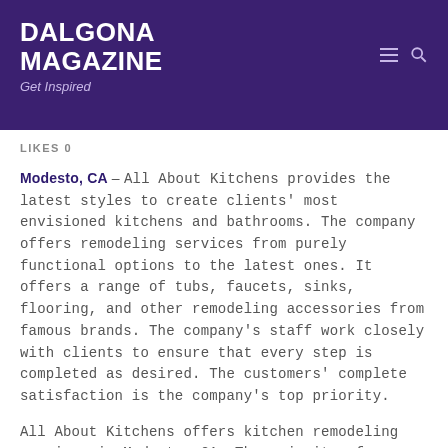DALGONA MAGAZINE
Get Inspired
LIKES 0
Modesto, CA – All About Kitchens provides the latest styles to create clients' most envisioned kitchens and bathrooms. The company offers remodeling services from purely functional options to the latest ones. It offers a range of tubs, faucets, sinks, flooring, and other remodeling accessories from famous brands. The company's staff work closely with clients to ensure that every step is completed as desired. The customers' complete satisfaction is the company's top priority.
All About Kitchens offers kitchen remodeling services in Modesto, CA. The majority of homeowners consider the kitchen as the house's centerpiece.